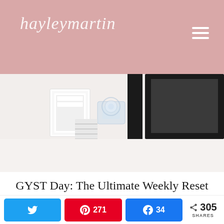hayleymartin
[Figure (photo): Desk flatlay showing white stationery organizer, acrylic tape dispenser, and black picture frame on a white surface]
GYST Day: The Ultimate Weekly Reset
Privacy & Cookies: This site uses cookies. By continuing to use this website, you agree to their use. To find out more, including how to control cookies, see here:
Twitter share button | Pinterest 271 | Facebook 34 | < 305 SHARES